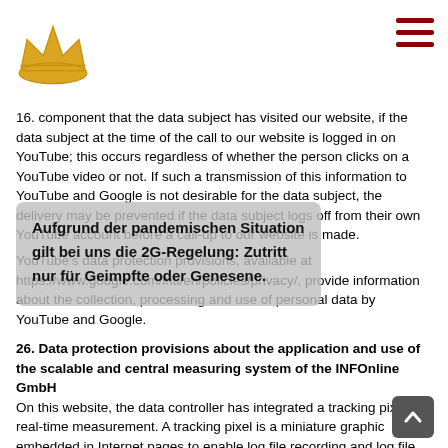Crown logo and hamburger menu
16. component that the data subject has visited our website, if the data subject at the time of the call to our website is logged in on YouTube; this occurs regardless of whether the person clicks on a YouTube video or not. If such a transmission of this information to YouTube and Google is not desirable for the data subject, the delivery may be prevented if the data subject logs off from their own YouTube account before a call-up to our website is made.
YouTube's data protection provisions, available at https://www.google.com/intl/en/policies/privacy/, provide information about the collection, processing and use of personal data by YouTube and Google.
26. Data protection provisions about the application and use of the scalable and central measuring system of the INFOnline GmbH
On this website, the data controller has integrated a tracking pixel for real-time measurement. A tracking pixel is a miniature graphic embedded in Internet pages to enable log file recording and log file analysis to subsequently perform a statistical analysis. The integrated tracking pixels are used for the Scalable